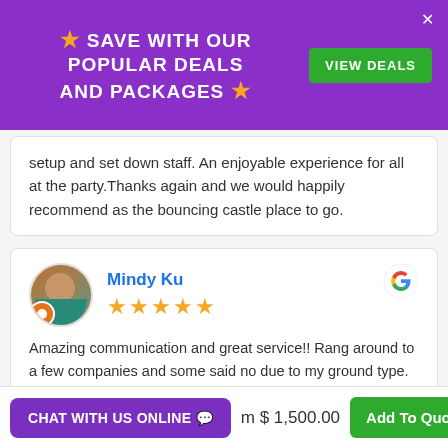[Figure (screenshot): Purple promotional banner with star icons, text 'SAVE WITH OUR POPULAR DEALS AND PACKAGES', a green 'VIEW DEALS' button, and a white close (×) button]
setup and set down staff. An enjoyable experience for all at the party.Thanks again and we would happily recommend as the bouncing castle place to go.
Mindy Ku
Amazing communication and great service!! Rang around to a few companies and some said no due to my ground type. Perth Bouncy Castle was prompt to provide a solution instead of just saying 'no' and kept me in the loop on what
m $ 1,500.00
CHAT WITH US ONLINE
Add To Quote